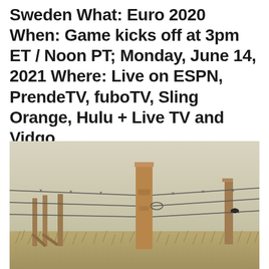Sweden What: Euro 2020 When: Game kicks off at 3pm ET / Noon PT; Monday, June 14, 2021 Where: Live on ESPN, PrendeTV, fuboTV, Sling Orange, Hulu + Live TV and Vidgo
[Figure (photo): Photograph of a wooden fence post with barbed wire in a rural field, dry grass and golden vegetation at the base, overcast light sky background.]